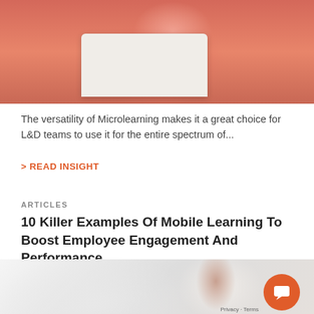[Figure (photo): Woman in pink/coral top using a laptop, seated, upper body visible, cropped at top of page]
The versatility of Microlearning makes it a great choice for L&D teams to use it for the entire spectrum of...
> READ INSIGHT
ARTICLES
10 Killer Examples Of Mobile Learning To Boost Employee Engagement And Performance
[Figure (photo): Woman looking at a mobile phone, light grey background, partially visible, with an orange chat widget circle in the bottom right corner]